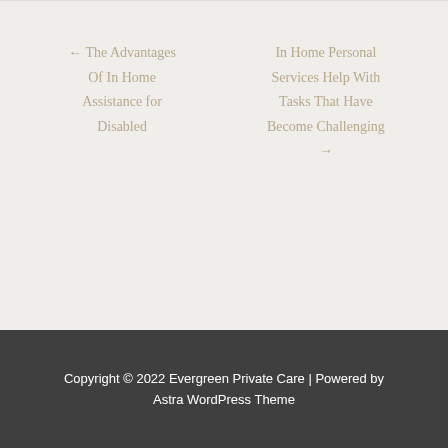← The Advantages Of In Home Assistance for Disabled
In Home Personal Services Help With Tasks That Have Become Challenging →
Copyright © 2022 Evergreen Private Care | Powered by Astra WordPress Theme